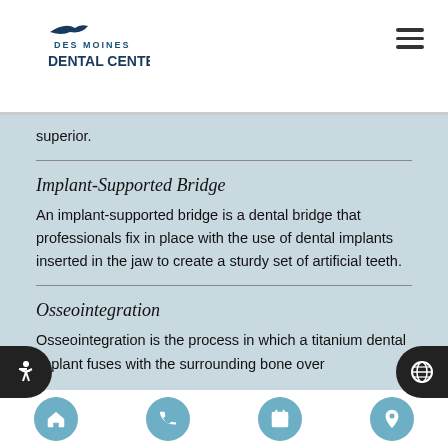Des Moines Dental Center
superior.
Implant-Supported Bridge
An implant-supported bridge is a dental bridge that professionals fix in place with the use of dental implants inserted in the jaw to create a sturdy set of artificial teeth.
Osseointegration
Osseointegration is the process in which a titanium dental implant fuses with the surrounding bone over
Home | Phone | Calendar | Location